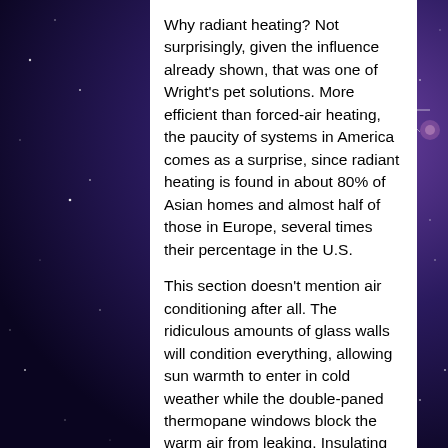Why radiant heating? Not surprisingly, given the influence already shown, that was one of Wright's pet solutions. More efficient than forced-air heating, the paucity of systems in America comes as a surprise, since radiant heating is found in about 80% of Asian homes and almost half of those in Europe, several times their percentage in the U.S.
This section doesn't mention air conditioning after all. The ridiculous amounts of glass walls will condition everything, allowing sun warmth to enter in cold weather while the double-paned thermopane windows block the warm air from leaking. Insulating the non-glass walls is presented as if it were a brand new idea.
[Figure (photo): Interior room photo showing glass walls, ceiling panels, and a plant in a modernist architectural space]